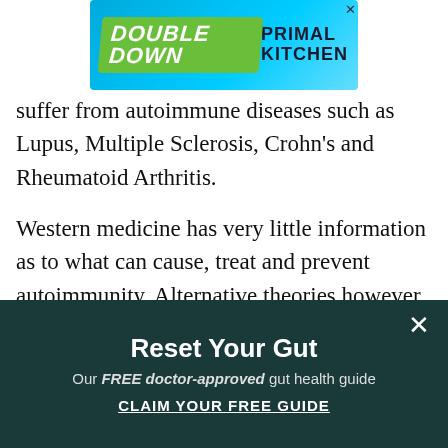[Figure (other): Advertisement banner for Primal Kitchen with 'Double Down' text on blue background with product images]
suffer from autoimmune diseases such as Lupus, Multiple Sclerosis, Crohn's and Rheumatoid Arthritis.
Western medicine has very little information as to what can cause, treat and prevent autoimmunity. Alternative theories however believe, as do I, that diet, environment and lifestyle can be triggers. We must take better care of ourselves, be mindful of what we eat and how we live and use our bodies.
I am lucky that my condition, Hashimoto's, does not present any significant health risk other than disruption
[Figure (other): Popup banner: Reset Your Gut — Our FREE doctor-approved gut health guide. CLAIM YOUR FREE GUIDE]
Reset Your Gut
Our FREE doctor-approved gut health guide
CLAIM YOUR FREE GUIDE